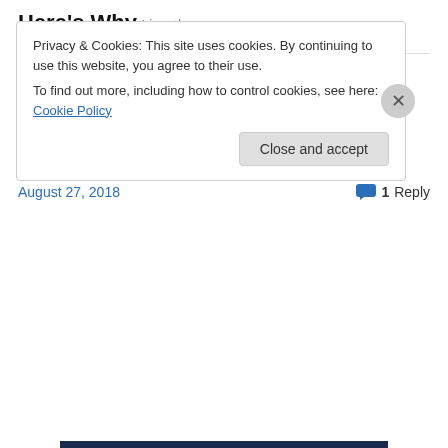Here's Why
Livestly
Share this:
Twitter   Tumblr   Facebook
Loading...
August 27, 2018
1 Reply
Privacy & Cookies: This site uses cookies. By continuing to use this website, you agree to their use.
To find out more, including how to control cookies, see here: Cookie Policy
Close and accept